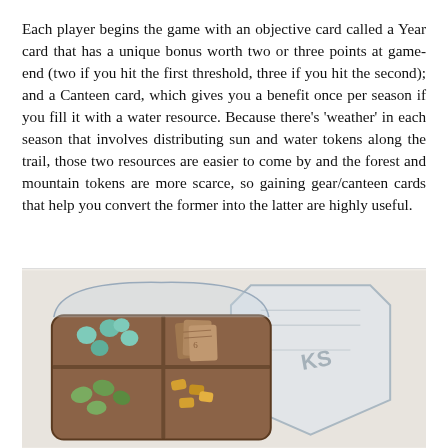Each player begins the game with an objective card called a Year card that has a unique bonus worth two or three points at game-end (two if you hit the first threshold, three if you hit the second); and a Canteen card, which gives you a benefit once per season if you fill it with a water resource. Because there's 'weather' in each season that involves distributing sun and water tokens along the trail, those two resources are easier to come by and the forest and mountain tokens are more scarce, so gaining gear/canteen cards that help you convert the former into the latter are highly useful.
[Figure (photo): Photograph of board game components: a brown tray with compartments containing small game tokens — light blue/teal heart-shaped pieces, green leaf-shaped pieces, brown square card pieces, and orange/yellow pieces, with a clear acrylic shield-shaped player board visible beside the tray.]